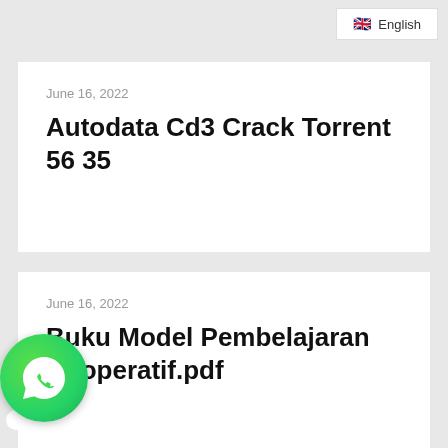English
June 16, 2022
Autodata Cd3 Crack Torrent 56 35
June 16, 2022
Buku Model Pembelajaran Kooperatif.pdf
[Figure (illustration): WhatsApp green phone icon with circular bubble and white tail]